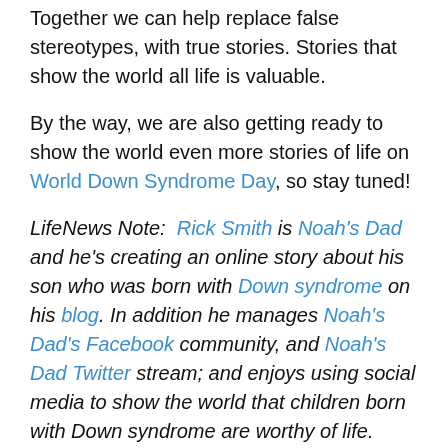Together we can help replace false stereotypes, with true stories. Stories that show the world all life is valuable.
By the way, we are also getting ready to show the world even more stories of life on World Down Syndrome Day, so stay tuned!
LifeNews Note:  Rick Smith is Noah's Dad and he's creating an online story about his son who was born with Down syndrome on his blog. In addition he manages Noah's Dad's Facebook community, and Noah's Dad Twitter stream; and enjoys using social media to show the world that children born with Down syndrome are worthy of life.